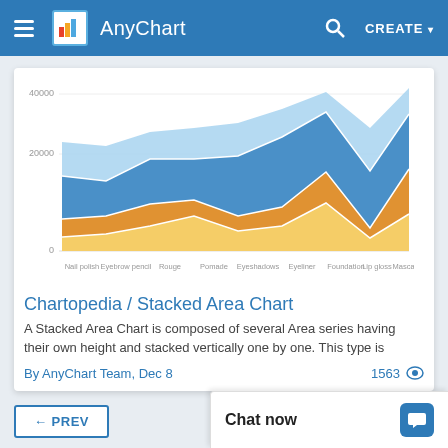AnyChart CREATE
[Figure (area-chart): Stacked Area Chart]
Chartopedia / Stacked Area Chart
A Stacked Area Chart is composed of several Area series having their own height and stacked vertically one by one. This type is
By AnyChart Team, Dec 8	1563
← PREV
NEXT →
Chat now